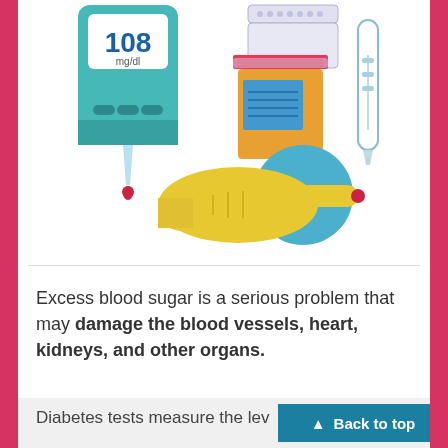[Figure (illustration): Medical illustration showing blood glucose testing equipment: a glucometer displaying 108 mg/dl, test strips, a urine sample container with label, an insulin pen, and a yellow gloved hand with a blood drop on the fingertip pressing against a blue circle lancet device.]
Excess blood sugar is a serious problem that may damage the blood vessels, heart, kidneys, and other organs.
Diabetes tests measure the lev